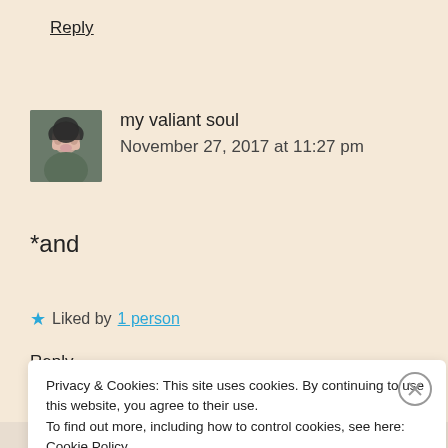Reply
my valiant soul
November 27, 2017 at 11:27 pm
*and
★ Liked by 1 person
Reply
Privacy & Cookies: This site uses cookies. By continuing to use this website, you agree to their use.
To find out more, including how to control cookies, see here: Cookie Policy
Close and accept